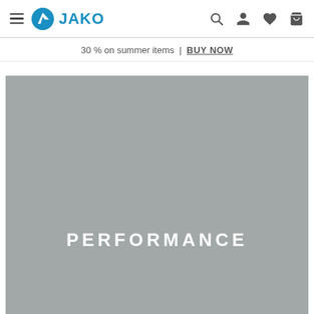JAKO — navigation bar with hamburger menu, JAKO logo, search, account, wishlist, cart icons
30 % on summer items | BUY NOW
[Figure (photo): Large gray hero banner image with the word PERFORMANCE in bold white uppercase letters centered in the lower-middle area]